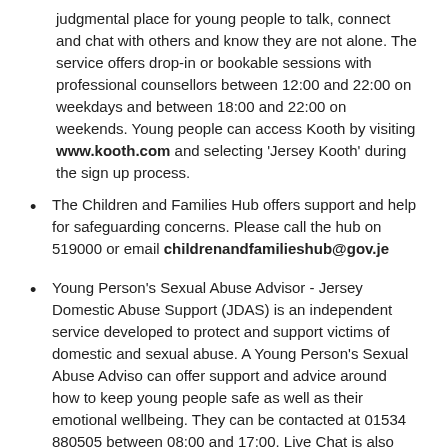judgmental place for young people to talk, connect and chat with others and know they are not alone. The service offers drop-in or bookable sessions with professional counsellors between 12:00 and 22:00 on weekdays and between 18:00 and 22:00 on weekends. Young people can access Kooth by visiting www.kooth.com and selecting 'Jersey Kooth' during the sign up process.
The Children and Families Hub offers support and help for safeguarding concerns. Please call the hub on 519000 or email childrenandfamilieshub@gov.je
Young Person's Sexual Abuse Advisor - Jersey Domestic Abuse Support (JDAS) is an independent service developed to protect and support victims of domestic and sexual abuse. A Young Person's Sexual Abuse Adviso can offer support and advice around how to keep young people safe as well as their emotional wellbeing. They can be contacted at 01534 880505 between 08:00 and 17:00. Live Chat is also available 08:00 to 22:00, seven days a week.
The Sexual Assault Referral Centre (SARC) provides a comprehensive and co-ordinated forensic, counselling and